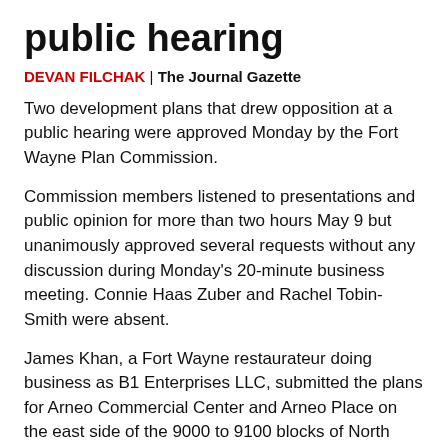public hearing
DEVAN FILCHAK | The Journal Gazette
Two development plans that drew opposition at a public hearing were approved Monday by the Fort Wayne Plan Commission.
Commission members listened to presentations and public opinion for more than two hours May 9 but unanimously approved several requests without any discussion during Monday's 20-minute business meeting. Connie Haas Zuber and Rachel Tobin-Smith were absent.
James Khan, a Fort Wayne restaurateur doing business as B1 Enterprises LLC, submitted the plans for Arneo Commercial Center and Arneo Place on the east side of the 9000 to 9100 blocks of North Clinton Street and on the south side of Brooks Road.
Along with approval of the plans, Khan asked for 138